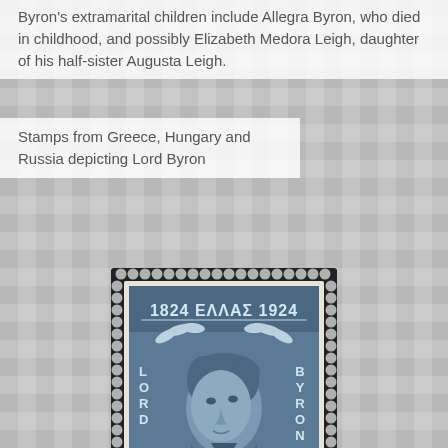Byron's extramarital children include Allegra Byron, who died in childhood, and possibly Elizabeth Medora Leigh, daughter of his half-sister Augusta Leigh.
Stamps from Greece, Hungary and Russia depicting Lord Byron
[Figure (photo): A Greek postage stamp from 1924 commemorating Lord Byron, showing his portrait with text '1824 ΕΛΛΑΣ 1924', 'LORD BYRON', '80 ΛΕΠΤΑ 80', and 'BRADBURY WILKINSON & CO LTD LONDON' at the bottom. The stamp has a perforated edge and is printed in steel blue on cream background.]